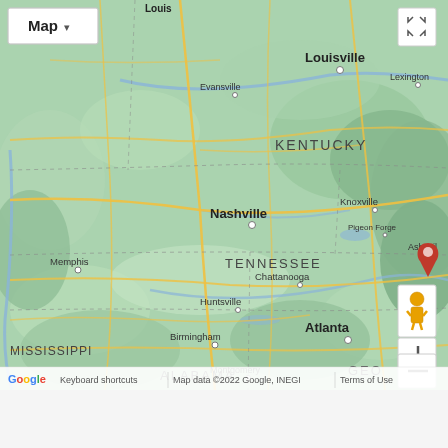[Figure (map): Google Maps screenshot showing southeastern United States including Kentucky, Tennessee, Alabama, Mississippi, and parts of Georgia and North Carolina. Cities labeled: Louisville, Lexington, Evansville, Nashville, Knoxville, Pigeon Forge, Asheville, Memphis, Chattanooga, Huntsville, Atlanta, Birmingham, Montgomery. State labels: KENTUCKY, TENNESSEE, MISSISSIPPI, ALABAMA, GEO (Georgia partially visible). A red location pin marker is visible in the upper right near Asheville area. Map controls visible: Map type button, fullscreen button, Street View pegman, zoom in/out buttons. Footer shows Google logo, 'Keyboard shortcuts', 'Map data ©2022 Google, INEGI', 'Terms of Use'.]